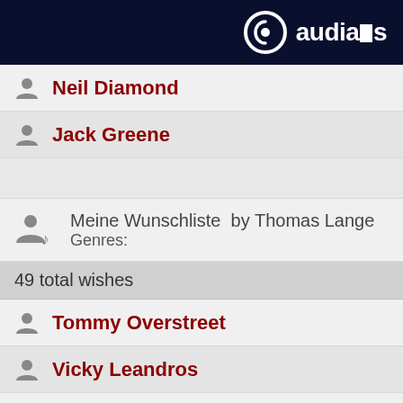audials
Neil Diamond
Jack Greene
[Figure (illustration): Playlist/wishlist icon with person and music note]
Meine Wunschliste  by Thomas Lange
Genres:
49 total wishes
Tommy Overstreet
Vicky Leandros
Luv'
Neil Diamond
Jack G…